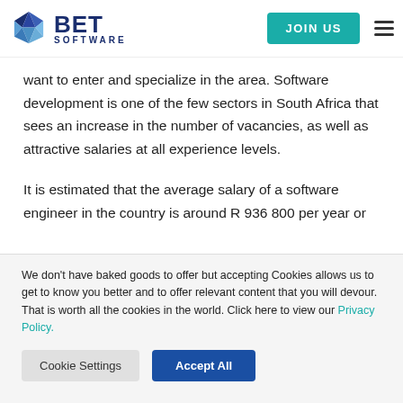BET SOFTWARE | JOIN US
want to enter and specialize in the area. Software development is one of the few sectors in South Africa that sees an increase in the number of vacancies, as well as attractive salaries at all experience levels.
It is estimated that the average salary of a software engineer in the country is around R 936 800 per year or
We don't have baked goods to offer but accepting Cookies allows us to get to know you better and to offer relevant content that you will devour. That is worth all the cookies in the world. Click here to view our Privacy Policy.
Cookie Settings
Accept All